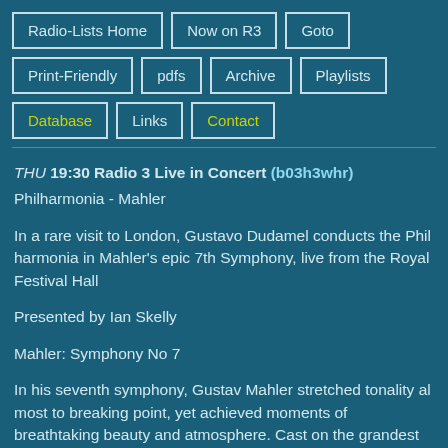Radio-Lists Home
Now on R3
Goto
Print-Friendly
pdfs
Archive
Playlists
Database
Links
Contact
THU 19:30 Radio 3 Live in Concert (b03h3whr)
Philharmonia - Mahler
In a rare visit to London, Gustavo Dudamel conducts the Philharmonia in Mahler's epic 7th Symphony, live from the Royal Festival Hall
Presented by Ian Skelly
Mahler: Symphony No 7
In his seventh symphony, Gustav Mahler stretched tonality almost to breaking point, yet achieved moments of breathtaking beauty and atmosphere. Cast on the grandest of scales, its five movements journey from mystery to haunted nightmare to eventual ecstatic resolution.